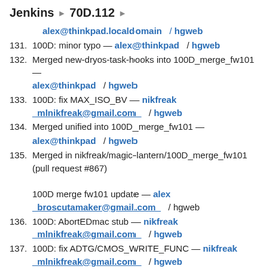Jenkins ▶ 70D.112 ▶
(partial) alex@thinkpad.localdomain / hgweb
131. 100D: minor typo — alex@thinkpad / hgweb
132. Merged new-dryos-task-hooks into 100D_merge_fw101 — alex@thinkpad / hgweb
133. 100D: fix MAX_ISO_BV — nikfreak _mlnikfreak@gmail.com_ / hgweb
134. Merged unified into 100D_merge_fw101 — alex@thinkpad / hgweb
135. Merged in nikfreak/magic-lantern/100D_merge_fw101 (pull request #867)
100D merge fw101 update — alex _broscutamaker@gmail.com_ / hgweb
136. 100D: AbortEDmac stub — nikfreak _mlnikfreak@gmail.com_ / hgweb
137. 100D: fix ADTG/CMOS_WRITE_FUNC — nikfreak _mlnikfreak@gmail.com_ / hgweb
138. Merged in Dannephoto/magic-lantern/100D_merge_fw101_SOUND (pull request #863)